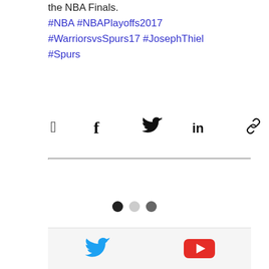the NBA Finals.
#NBA #NBAPlayoffs2017 #WarriorsvsSpurs17 #JosephThiel #Spurs
[Figure (other): Social share icons: Facebook, Twitter, LinkedIn, Link]
[Figure (other): Pagination dots: black dot, light dot, dark dot]
[Figure (other): Footer bar with Twitter bird icon and YouTube play button icon]